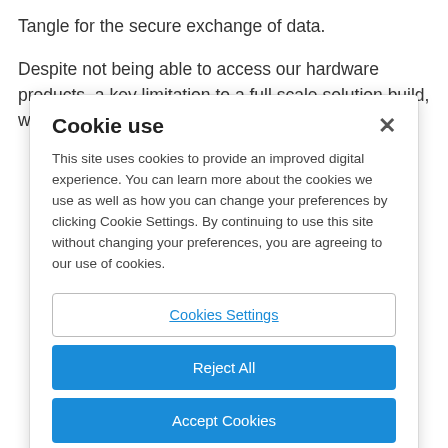Tangle for the secure exchange of data.
Despite not being able to access our hardware products, a key limitation to a full scale solution build, we were
Cookie use
This site uses cookies to provide an improved digital experience. You can learn more about the cookies we use as well as how you can change your preferences by clicking Cookie Settings. By continuing to use this site without changing your preferences, you are agreeing to our use of cookies.
Cookies Settings
Reject All
Accept Cookies